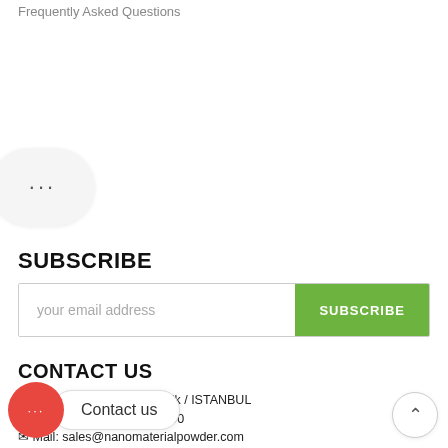Frequently Asked Questions
[Figure (other): Chat bubble UI element with three dots (…) indicating a loading or chat widget]
SUBSCRIBE
your email address [input field] SUBSCRIBE [button]
CONTACT US
39/21 PK.34912 Pendik / ISTANBUL / T...
Phone: +90 216 526 04 90
Mail: sales@nanomaterialpowder.com
[Figure (other): Red circular chat button with three dots and 'Contact us' label popup, plus a scroll-to-top arrow button]